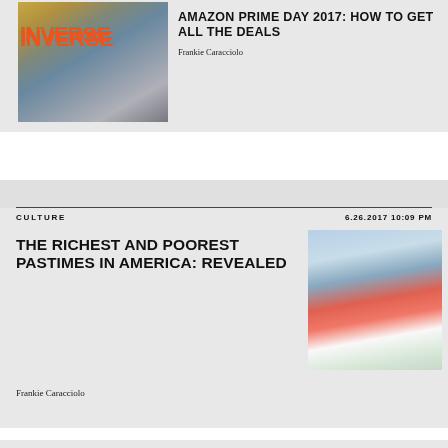[Figure (photo): Amazon warehouse with boxes on conveyor belt]
INVERSE
AMAZON PRIME DAY 2017: HOW TO GET ALL THE DEALS
Frankie Caracciolo
[Figure (photo): Golfer in red shirt swinging a golf club]
CULTURE
6.26.2017 10:09 PM
THE RICHEST AND POOREST PASTIMES IN AMERICA: REVEALED
Frankie Caracciolo